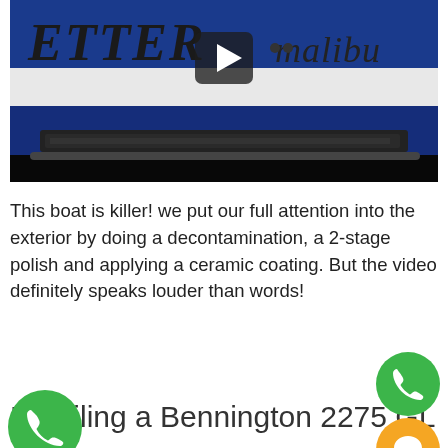[Figure (photo): A blue and white Malibu boat showing the rear section with 'ETTER' text visible on the hull and 'malibu' logo, with a video play button overlay indicating this is a video thumbnail. The boat's stern area with step/platform is visible.]
This boat is killer! we put our full attention into the exterior by doing a decontamination, a 2-stage polish and applying a ceramic coating. But the video definitely speaks louder than words!
Detailing a Bennington 2275 GL